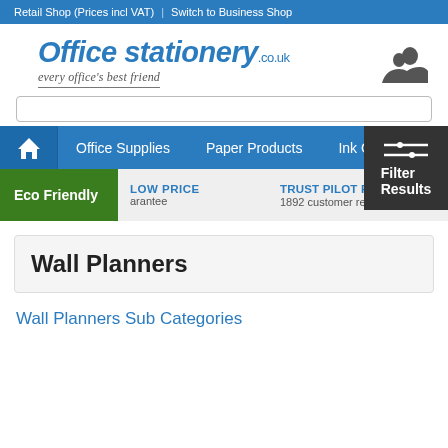Retail Shop (Prices incl VAT) | Switch to Business Shop
[Figure (logo): Office stationery.co.uk logo with tagline 'every office's best friend' and user icon]
[Figure (infographic): Navigation bar with Home icon, Office Supplies, Paper Products, Ink Cartridges, and Filter Results button]
Eco Friendly | LOW PRICE guarantee | TRUST PILOT RATED 1892 customer reviews
Wall Planners
Wall Planners Sub Categories